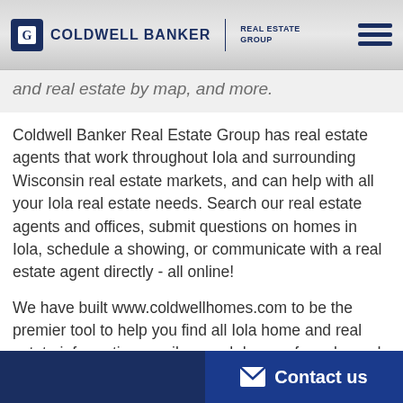COLDWELL BANKER REAL ESTATE GROUP
and real estate by map, and more.
Coldwell Banker Real Estate Group has real estate agents that work throughout Iola and surrounding Wisconsin real estate markets, and can help with all your Iola real estate needs. Search our real estate agents and offices, submit questions on homes in Iola, schedule a showing, or communicate with a real estate agent directly - all online!
We have built www.coldwellhomes.com to be the premier tool to help you find all Iola home and real estate information, easily search homes for sale, and cater to all your real estate needs. Please let us know any way we can help you buy or sell your home, or assist in any of your Iola real
Contact us